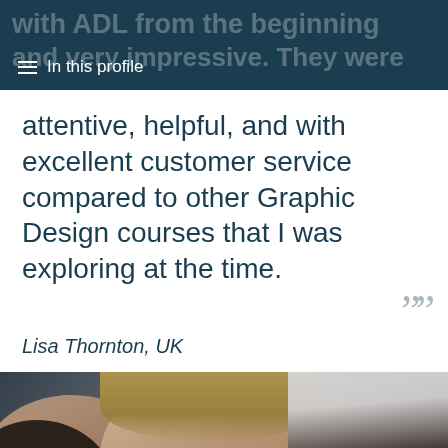In this profile
attentive, helpful, and with excellent customer service compared to other Graphic Design courses that I was exploring at the time.
Lisa Thornton, UK
[Figure (photo): Students looking at a screen together — one person with glasses on the left, a smiling young woman in the centre, and a person on the right side. Indoor setting, close-up shot.]